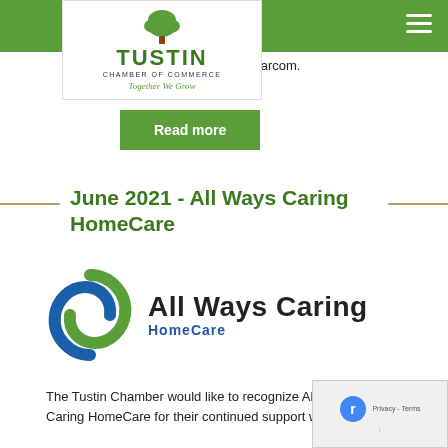[Figure (logo): Tustin Chamber of Commerce logo with tree graphic and tagline 'Together We Grow']
a and Co-Founder, John Marcom.
Read more
June 2021 - All Ways Caring HomeCare
[Figure (logo): All Ways Caring HomeCare logo with green and blue swirl graphic]
The Tustin Chamber would like to recognize All Ways Caring HomeCare for their continued support within our